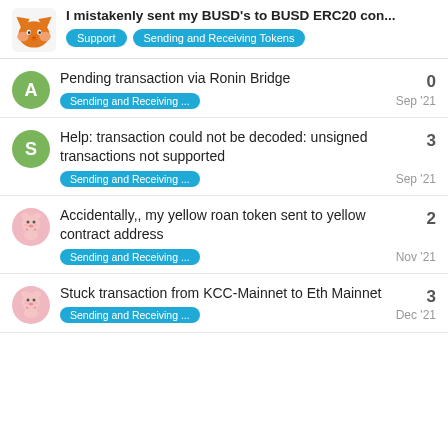I mistakenly sent my BUSD's to BUSD ERC20 con...
Pending transaction via Ronin Bridge | Sending and Receiving ... | Sep '21 | 0
Help: transaction could not be decoded: unsigned transactions not supported | Sending and Receiving ... | Sep '21 | 3
Accidentally,, my yellow roan token sent to yellow contract address | Sending and Receiving ... | Nov '21 | 2
Stuck transaction from KCC-Mainnet to Eth Mainnet | Sending and Receiving ... | Dec '21 | 3